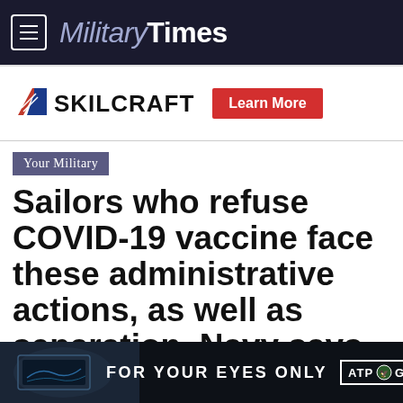Military Times
[Figure (logo): SKILCRAFT logo with diagonal stripe icon and 'Learn More' red button advertisement banner]
Your Military
Sailors who refuse COVID-19 vaccine face these administrative actions, as well as separation, Navy says
[Figure (photo): Bottom advertisement banner reading 'FOR YOUR EYES ONLY' with ATP GOV branding, showing a person at computer monitors]